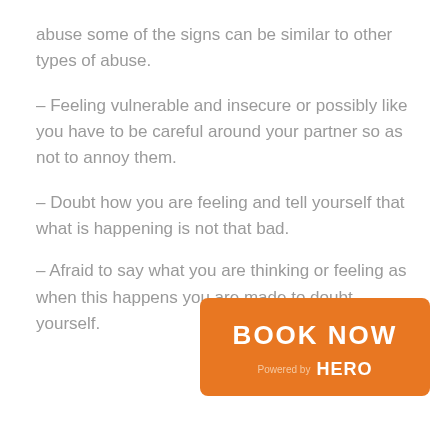abuse some of the signs can be similar to other types of abuse.
– Feeling vulnerable and insecure or possibly like you have to be careful around your partner so as not to annoy them.
– Doubt how you are feeling and tell yourself that what is happening is not that bad.
– Afraid to say what you are thinking or feeling as when this happens you are made to doubt yourself.
[Figure (other): Orange 'BOOK NOW' button overlay with 'Powered by HERO' text beneath it]